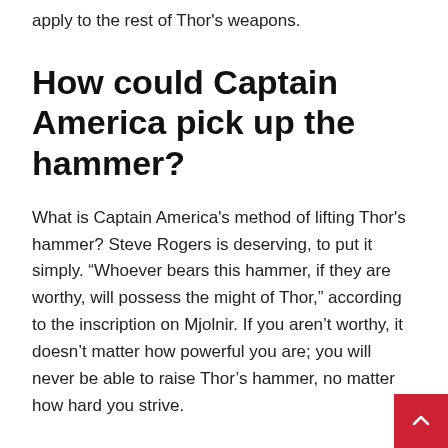apply to the rest of Thor's weapons.
How could Captain America pick up the hammer?
What is Captain America's method of lifting Thor's hammer? Steve Rogers is deserving, to put it simply. “Whoever bears this hammer, if they are worthy, will possess the might of Thor,” according to the inscription on Mjolnir. If you aren’t worthy, it doesn’t matter how powerful you are; you will never be able to raise Thor’s hammer, no matter how hard you strive.